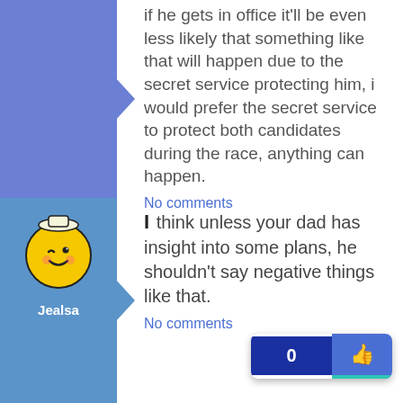that to happen. And when it if he gets in office it'll be even less likely that something like that will happen due to the secret service protecting him, i would prefer the secret service to protect both candidates during the race, anything can happen.
No comments
0
[Figure (illustration): Avatar of user Jealsa - a cartoon smiley face character with a wink, yellow circle face with small crown/hat, on blue background]
Jealsa
I think unless your dad has insight into some plans, he shouldn't say negative things like that.
No comments
0